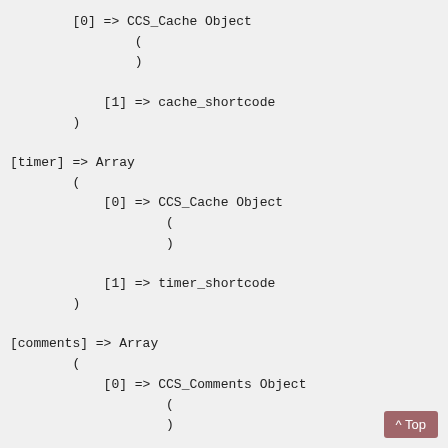[0] => CCS_Cache Object
            (
            )

        [1] => cache_shortcode
    )

[timer] => Array
    (
        [0] => CCS_Cache Object
            (
            )

        [1] => timer_shortcode
    )

[comments] => Array
    (
        [0] => CCS_Comments Object
            (
            )

        [1] => comments_shortcode
    )